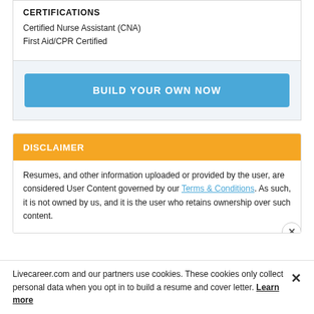CERTIFICATIONS
Certified Nurse Assistant (CNA)
First Aid/CPR Certified
BUILD YOUR OWN NOW
DISCLAIMER
Resumes, and other information uploaded or provided by the user, are considered User Content governed by our Terms & Conditions. As such, it is not owned by us, and it is the user who retains ownership over such content.
Livecareer.com and our partners use cookies. These cookies only collect personal data when you opt in to build a resume and cover letter. Learn more